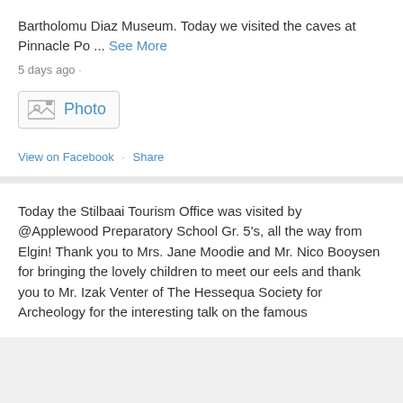Bartholomu Diaz Museum. Today we visited the caves at Pinnacle Po ... See More
5 days ago ·
[Figure (screenshot): Photo button with image icon and blue 'Photo' label]
View on Facebook · Share
Today the Stilbaai Tourism Office was visited by @Applewood Preparatory School Gr. 5's, all the way from Elgin! Thank you to Mrs. Jane Moodie and Mr. Nico Booysen for bringing the lovely children to meet our eels and thank you to Mr. Izak Venter of The Hessequa Society for Archeology for the interesting talk on the famous